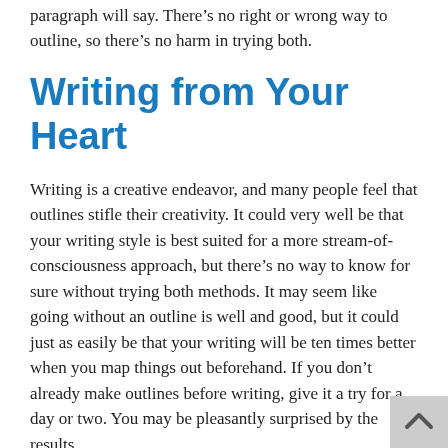paragraph will say. There's no right or wrong way to outline, so there's no harm in trying both.
Writing from Your Heart
Writing is a creative endeavor, and many people feel that outlines stifle their creativity. It could very well be that your writing style is best suited for a more stream-of-consciousness approach, but there's no way to know for sure without trying both methods. It may seem like going without an outline is well and good, but it could just as easily be that your writing will be ten times better when you map things out beforehand. If you don't already make outlines before writing, give it a try for a day or two. You may be pleasantly surprised by the results.
Are you finishing up your outline and moving into the writing process? Or are you finally putting the